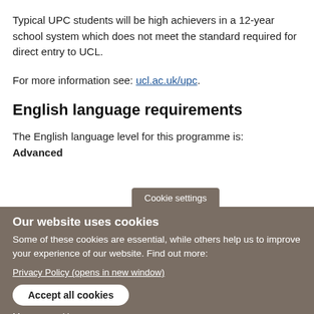Typical UPC students will be high achievers in a 12-year school system which does not meet the standard required for direct entry to UCL.
For more information see: ucl.ac.uk/upc.
English language requirements
The English language level for this programme is: Advanced
Cookie settings
Our website uses cookies
Some of these cookies are essential, while others help us to improve your experience of our website. Find out more:
Privacy Policy (opens in new window)
Accept all cookies
Manage cookies